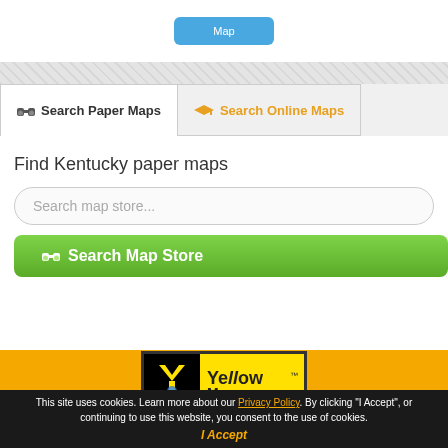[Figure (screenshot): Blue button remnant at top of page]
Search Paper Maps
Search Online Maps
Find Kentucky paper maps
Search map store...
Search Map Store
[Figure (logo): YellowMaps logo with Y symbol on black background and yellow text]
This site uses cookies. Learn more about our Privacy Policy. By clicking "I Accept", or continuing to use this website, you consent to the use of cookies.
I Accept